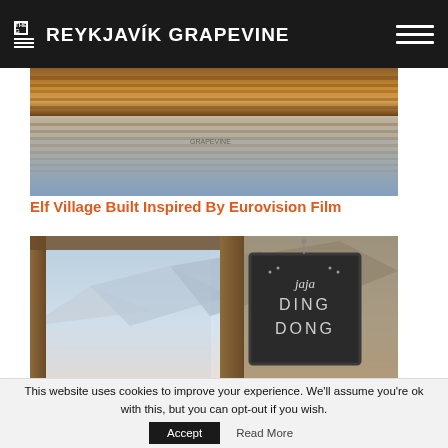THE G REYKJAVÍK GRAPEVINE
[Figure (photo): Reflected wooden architecture in water — top image for Elf Village article]
Elf Village Built Inspired By Eurovision Film
[Figure (photo): Interior photo showing a chalkboard sign reading 'jaja DING DONG' with mountain view through window — Jaja Ding Dong bar/restaurant]
This website uses cookies to improve your experience. We'll assume you're ok with this, but you can opt-out if you wish.
Accept   Read More